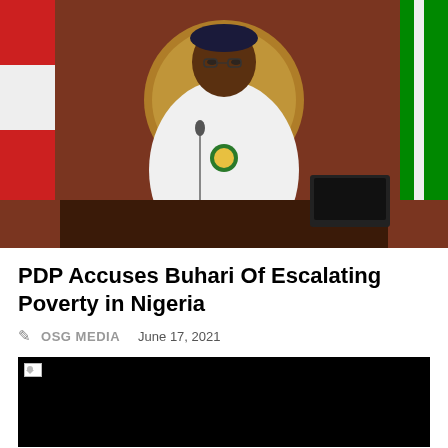[Figure (photo): Photo of Nigerian President Muhammadu Buhari in white traditional attire seated at a podium with a microphone, with national flags visible in the background including Serbian and Nigerian flags, and a decorative circular emblem behind him.]
PDP Accuses Buhari Of Escalating Poverty in Nigeria
OSG MEDIA   June 17, 2021
[Figure (photo): A mostly black/dark image, appears to be a video thumbnail or embedded media with a broken image icon in the top-left corner.]